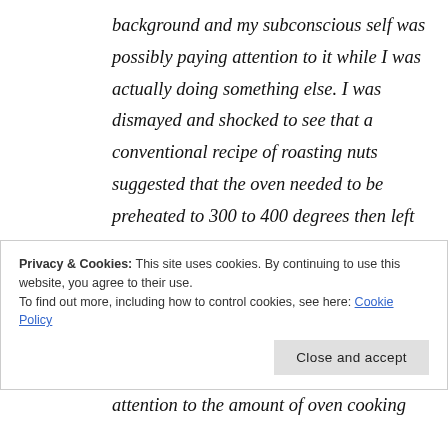background and my subconscious self was possibly paying attention to it while I was actually doing something else. I was dismayed and shocked to see that a conventional recipe of roasting nuts suggested that the oven needed to be preheated to 300 to 400 degrees then left running for another 20-30 minutes to roast nuts. Considering that we are becoming mindful and feeling responsible about making the earth green and reducing our
Privacy & Cookies: This site uses cookies. By continuing to use this website, you agree to their use.
To find out more, including how to control cookies, see here: Cookie Policy
Close and accept
attention to the amount of oven cooking